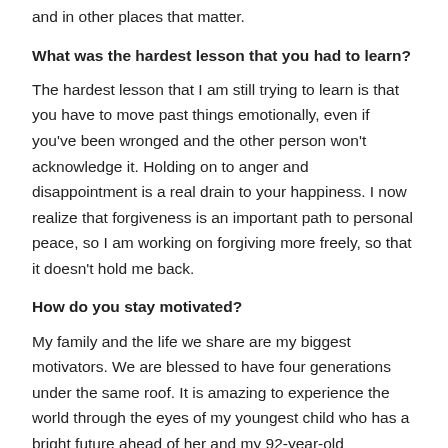and in other places that matter.
What was the hardest lesson that you had to learn?
The hardest lesson that I am still trying to learn is that you have to move past things emotionally, even if you've been wronged and the other person won't acknowledge it. Holding on to anger and disappointment is a real drain to your happiness. I now realize that forgiveness is an important path to personal peace, so I am working on forgiving more freely, so that it doesn't hold me back.
How do you stay motivated?
My family and the life we share are my biggest motivators. We are blessed to have four generations under the same roof. It is amazing to experience the world through the eyes of my youngest child who has a bright future ahead of her and my 92-year-old grandmother who has